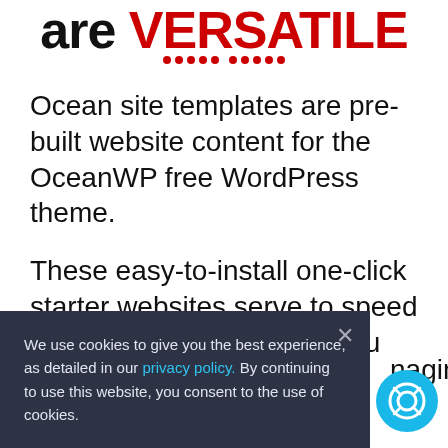are VERSATILE
[Figure (other): Row of red dots as a decorative divider]
Ocean site templates are pre-built website content for the OceanWP free WordPress theme.
These easy-to-install one-click starter websites serve to speed up the building process. You can even use them as an
We use cookies to give you the best experience, as detailed in our privacy policy. By continuing to use this website, you consent to the use of cookies.
[Figure (illustration): Cyan circular support/lifebuoy button in bottom right corner]